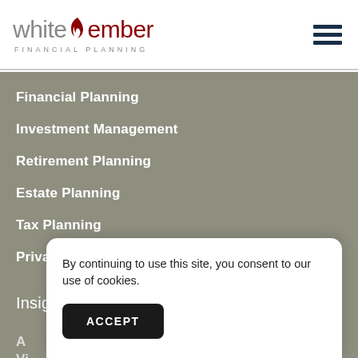[Figure (logo): White Ember Financial Planning logo with flame icon and tagline]
Financial Planning
Investment Management
Retirement Planning
Estate Planning
Tax Planning
Private Client Services
Insights
A
Vi
In
C
By continuing to use this site, you consent to our use of cookies.
ACCEPT